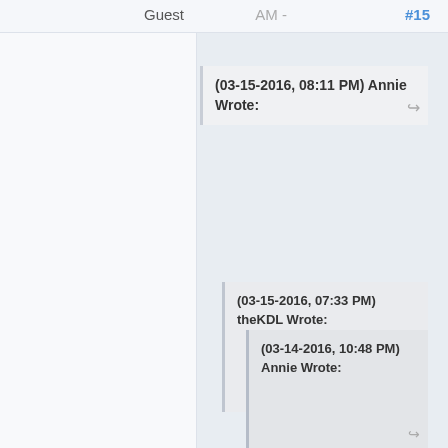Guest    AM -    #15
(03-15-2016, 08:11 PM) Annie Wrote:
(03-15-2016, 07:33 PM) theKDL Wrote:
(03-14-2016, 10:48 PM) Annie Wrote: